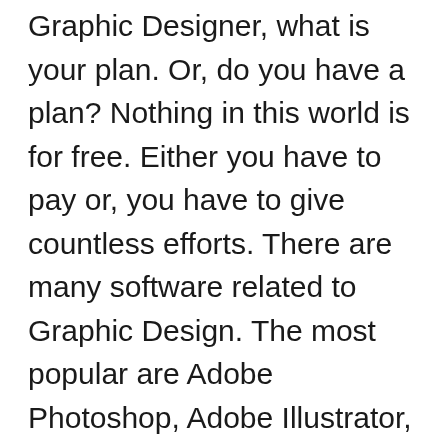Graphic Designer, what is your plan. Or, do you have a plan? Nothing in this world is for free. Either you have to pay or, you have to give countless efforts. There are many software related to Graphic Design. The most popular are Adobe Photoshop, Adobe Illustrator, Linkscape, 3d Max, Blender, Maya etc. It may take ages, but if you keep trying one day you will get the fruit. But if you lose track on the middle of the road, you will get nothing but some waste of time. It is better to choose graphic design as a career, only if you love artworks. If you feel like you are enjoying and lots of ideas are running over your head then you shouldn't wait. Go ahead and earn